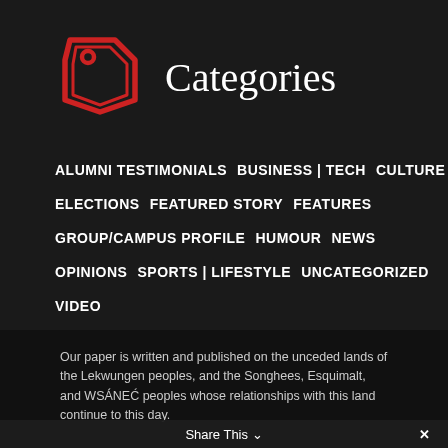[Figure (illustration): Red price tag icon]
Categories
ALUMNI TESTIMONIALS
BUSINESS | TECH
CULTURE
ELECTIONS
FEATURED STORY
FEATURES
GROUP/CAMPUS PROFILE
HUMOUR
NEWS
OPINIONS
SPORTS | LIFESTYLE
UNCATEGORIZED
VIDEO
Our paper is written and published on the unceded lands of the Lekwungen peoples, and the Songhees, Esquimalt, and WSÁNEĆ peoples whose relationships with this land continue to this day.
Share This